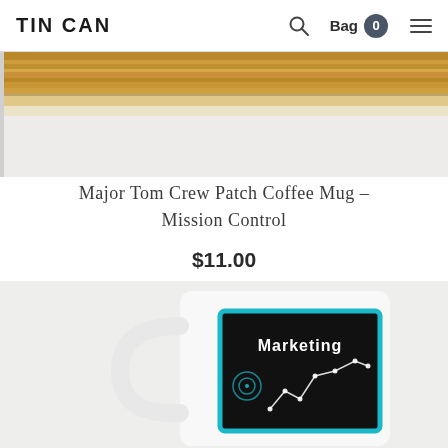TIN CAN | Search | Bag 0 | Menu
[Figure (photo): Top portion of a product photo showing a wooden surface/shelf against a white background — the bottom edge of a product shot.]
Major Tom Crew Patch Coffee Mug – Mission Control
$11.00
[Figure (photo): White ceramic coffee mug with a dark (black/teal-bordered) label reading 'Marketing' with a constellation/line-chart graphic on it, on a light grey background.]